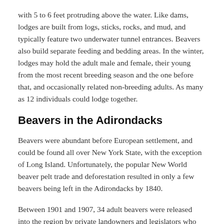with 5 to 6 feet protruding above the water. Like dams, lodges are built from logs, sticks, rocks, and mud, and typically feature two underwater tunnel entrances. Beavers also build separate feeding and bedding areas. In the winter, lodges may hold the adult male and female, their young from the most recent breeding season and the one before that, and occasionally related non-breeding adults. As many as 12 individuals could lodge together.
Beavers in the Adirondacks
Beavers were abundant before European settlement, and could be found all over New York State, with the exception of Long Island. Unfortunately, the popular New World beaver pelt trade and deforestation resulted in only a few beavers being left in the Adirondacks by 1840.
Between 1901 and 1907, 34 adult beavers were released into the region by private landowners and legislators who wanted to help the species' numbers increase. By 1924, the population had grown so significantly that a